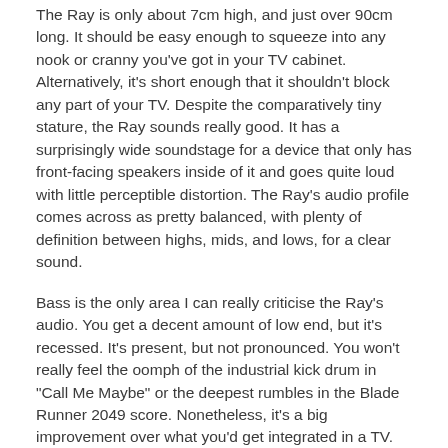The Ray is only about 7cm high, and just over 90cm long. It should be easy enough to squeeze into any nook or cranny you've got in your TV cabinet. Alternatively, it's short enough that it shouldn't block any part of your TV. Despite the comparatively tiny stature, the Ray sounds really good. It has a surprisingly wide soundstage for a device that only has front-facing speakers inside of it and goes quite loud with little perceptible distortion. The Ray's audio profile comes across as pretty balanced, with plenty of definition between highs, mids, and lows, for a clear sound.
Bass is the only area I can really criticise the Ray's audio. You get a decent amount of low end, but it's recessed. It's present, but not pronounced. You won't really feel the oomph of the industrial kick drum in "Call Me Maybe" or the deepest rumbles in the Blade Runner 2049 score. Nonetheless, it's a big improvement over what you'd get integrated in a TV.
You can always pair it with a Sonos Sub for an extra $1,099 if you want some bass, but given the cost disparity, it's not actually the most natural option. Sonos is rumoured to working on a more affordable subwoofer, however, so hopefully that drops sooner rather than later.